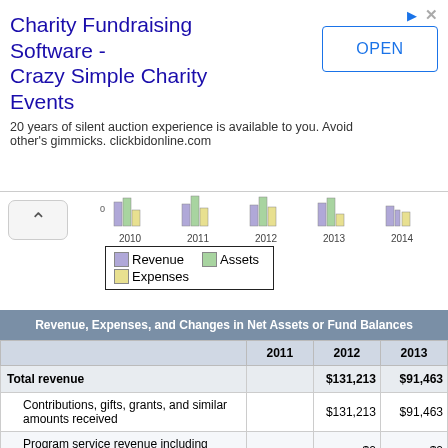[Figure (other): Advertisement banner for Charity Fundraising Software - Crazy Simple Charity Events with OPEN button]
[Figure (bar-chart): Bar chart showing Revenue, Assets, Expenses from 2010 to 2014 with legend]
|  | 2011 | 2012 | 2013 |
| --- | --- | --- | --- |
| Total revenue |  | $131,213 | $91,463 |
| Contributions, gifts, grants, and similar amounts received |  | $131,213 | $91,463 |
| Program service revenue including government fees and contracts |  | $0 | $0 |
| Membership dues and assessments |  | $0 | $0 |
| Investment income |  | $0 | $0 |
| Gain/Loss from sale of assets other than inventory |  | $0 | $0 |
| Net income/loss from gaming and fundraising |  |  |  |